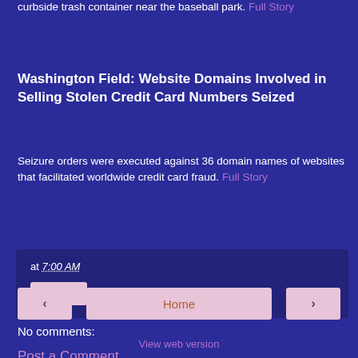curbside trash container near the baseball park. Full Story
Washington Field: Website Domains Involved in Selling Stolen Credit Card Numbers Seized
Seizure orders were executed against 36 domain names of websites that facilitated worldwide credit card fraud. Full Story
at 7:00 AM
Share
No comments:
Post a Comment
‹
Home
›
View web version